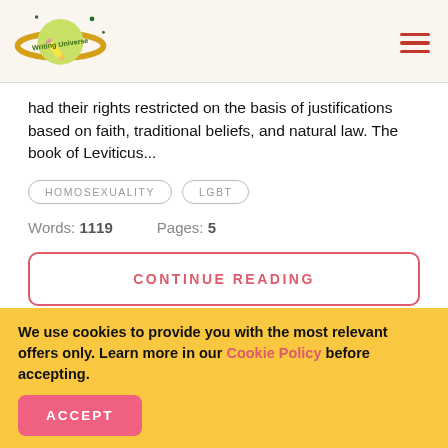[Figure (logo): Writing Universe logo — planet with ring, green sphere, pencil, and text 'Writing Universe']
had their rights restricted on the basis of justifications based on faith, traditional beliefs, and natural law. The book of Leviticus...
HOMOSEXUALITY
LGBT
Words: 1119    Pages: 5
CONTINUE READING
We use cookies to provide you with the most relevant offers only. Learn more in our Cookie Policy before accepting.
ACCEPT